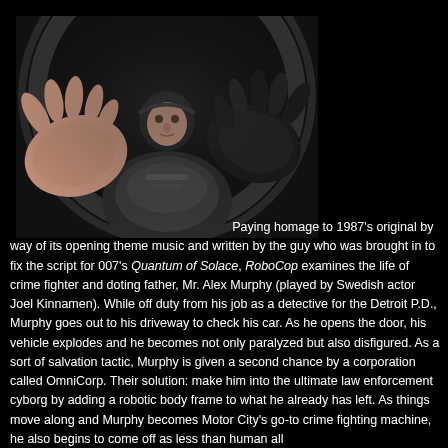[Figure (photo): A person in a RoboCop suit with both hands raised and outstretched toward the camera, photographed from below against a circular metallic structure in the background. The image is dark with dramatic lighting.]
Paying homage to 1987's original by way of its opening theme music and written by the guy who was brought in to fix the script for 007's Quantum of Solace, RoboCop examines the life of crime fighter and doting father, Mr. Alex Murphy (played by Swedish actor Joel Kinnamen). While off duty from his job as a detective for the Detroit P.D., Murphy goes out to his driveway to check his car. As he opens the door, his vehicle explodes and he becomes not only paralyzed but also disfigured. As a sort of salvation tactic, Murphy is given a second chance by a corporation called OmniCorp. Their solution: make him into the ultimate law enforcement cyborg by adding a robotic body frame to what he already has left. As things move along and Murphy becomes Motor City's go-to crime fighting machine, he also begins to come off as less than human all